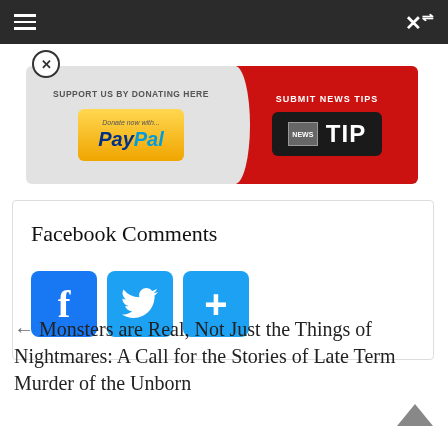[Figure (screenshot): Top navigation bar with hamburger menu icon and shuffle icon on dark background]
[Figure (screenshot): Donation banner with PayPal button on left and Submit News Tips TIP button on right red section, with close button]
Facebook Comments
[Figure (infographic): Social share buttons: Facebook (f), Twitter (bird), and plus (+) icons in blue rounded squares]
← Monsters are Real, Not Just the Things of Nightmares: A Call for the Stories of Late Term Murder of the Unborn